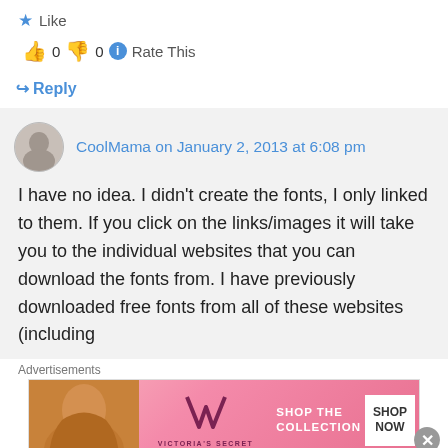★ Like
👍 0 👎 0 ℹ Rate This
↪ Reply
CoolMama on January 2, 2013 at 6:08 pm
I have no idea. I didn't create the fonts, I only linked to them. If you click on the links/images it will take you to the individual websites that you can download the fonts from. I have previously downloaded free fonts from all of these websites (including the Da Sar... fonts) and have...
Advertisements
[Figure (photo): Victoria's Secret advertisement banner with model and 'SHOP THE COLLECTION' text and 'SHOP NOW' button]